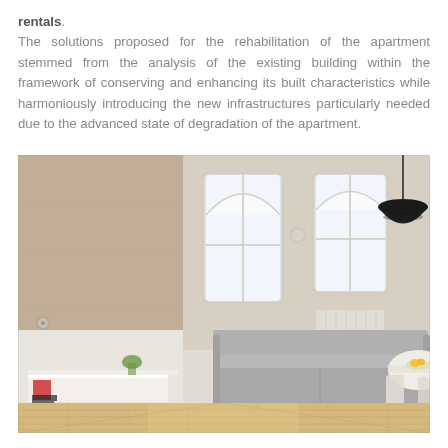rentals. The solutions proposed for the rehabilitation of the apartment stemmed from the analysis of the existing building within the framework of conserving and enhancing its built characteristics while harmoniously introducing the new infrastructures particularly needed due to the advanced state of degradation of the apartment.
[Figure (photo): Interior photograph of a rehabilitated apartment showing a bright, minimalist living room with light beige plastered walls, white wainscoting, two arched windows, a grey sofa, a white low shelf unit with books and a red item, a round dining table with chairs, a black pendant lamp, and light wood flooring.]